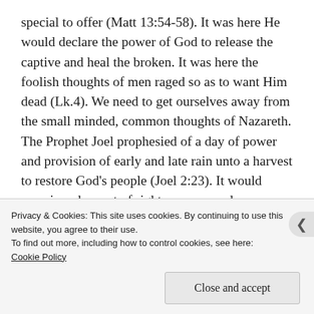special to offer (Matt 13:54-58). It was here He would declare the power of God to release the captive and heal the broken. It was here the foolish thoughts of men raged so as to want Him dead (Lk.4). We need to get ourselves away from the small minded, common thoughts of Nazareth. The Prophet Joel prophesied of a day of power and provision of early and late rain unto a harvest to restore God's people (Joel 2:23). It would promise a harvest of righteousness and an outpouring of His Holy
Privacy & Cookies: This site uses cookies. By continuing to use this website, you agree to their use.
To find out more, including how to control cookies, see here: Cookie Policy
Close and accept